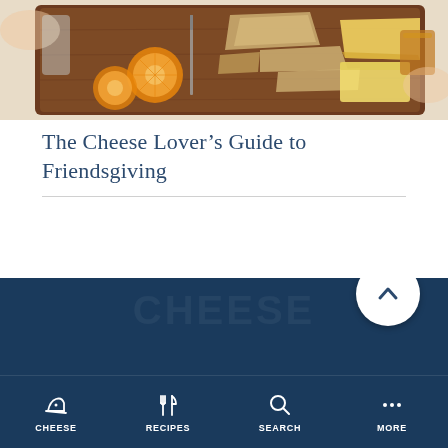[Figure (photo): A charcuterie/cheese board on a dark wooden cutting board with dried orange slices, crackers, various cheeses, and a small glass of drink, hands visible in background]
The Cheese Lover’s Guide to Friendsgiving
[Figure (other): Three orange loading dots centered on white background indicating content loading]
[Figure (screenshot): Dark navy blue footer navigation bar with scroll-to-top button and four nav items: CHEESE, RECIPES, SEARCH, MORE with respective icons]